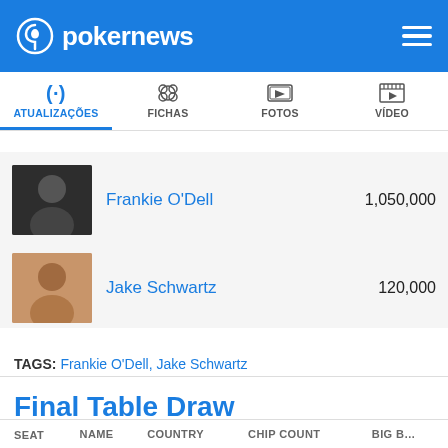pokernews
ATUALIZAÇÕES | FICHAS | FOTOS | VÍDEO
Frankie O'Dell  1,050,000
Jake Schwartz  120,000
TAGS: Frankie O'Dell, Jake Schwartz
Final Table Draw
Escrito há 2019-06-08 20:09 UTC-7 will_shill
• Nível 20: 30,000-60,000, 0 ante  PARTILHAR
| SEAT | NAME | COUNTRY | CHIP COUNT | BIG B… |
| --- | --- | --- | --- | --- |